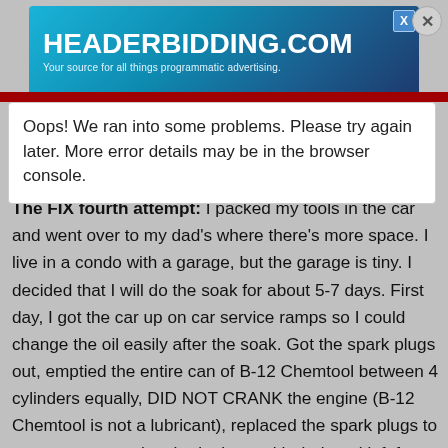[Figure (screenshot): Advertisement banner for HEADERBIDDING.COM — 'Your source for all things programmatic advertising.' on a blue gradient background with close button X]
Oops! We ran into some problems. Please try again later. More error details may be in the browser console.
The FIX fourth attempt: I packed my tools in the car and went over to my dad's where there's more space. I live in a condo with a garage, but the garage is tiny. I decided that I will do the soak for about 5-7 days. First day, I got the car up on car service ramps so I could change the oil easily after the soak. Got the spark plugs out, emptied the entire can of B-12 Chemtool between 4 cylinders equally, DID NOT CRANK the engine (B-12 Chemtool is not a lubricant), replaced the spark plugs to prevent evaporation, had a beer with dad, and left for the day. Came back the next day, checked the Berryman B-12 levels and 2 cylinders out of the 4 cylinders were empty. I added more, replaced the spark plugs, beer again, and left. This is day 3 now. Berryman B-12 levels are stable in the cylinders, still full. Day 4, same. I took this as a good sign and assumed the rings got free. Day 5 I got a Brake Bleeder Pump Kit from Harbor Freight (https://www.harborfreight.com/brake-bleeder-and-vacuum-